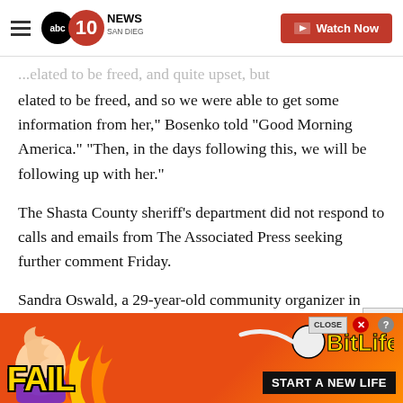10 NEWS SAN DIEGO | Watch Now
...elated to be freed, and so we were able to get some information from her," Bosenko told "Good Morning America." "Then, in the days following this, we will be following up with her."
The Shasta County sheriff’s department did not respond to calls and emails from The Associated Press seeking further comment Friday.
Sandra Oswald, a 29-year-old community organizer in Redding, had helped run search groups to look for
[Figure (screenshot): Advertisement banner for BitLife game with FAIL text, cartoon character, flames, and START A NEW LIFE text on orange/red background]